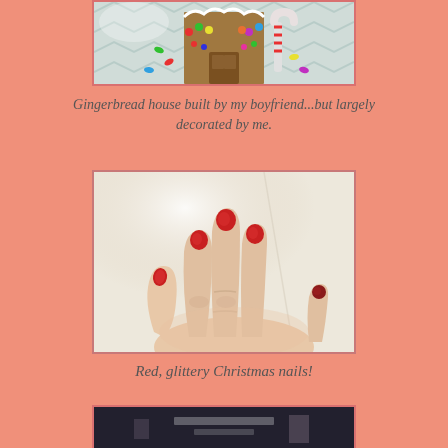[Figure (photo): Partial view of a gingerbread house decorated with colorful candies, showing the top portion of the house against a light background]
Gingerbread house built by my boyfriend...but largely decorated by me.
[Figure (photo): Close-up photo of a hand with red glittery nail polish on a white background, showing fingers spread out]
Red, glittery Christmas nails!
[Figure (photo): Partial view of another image at the bottom of the page, dark background with some text visible]